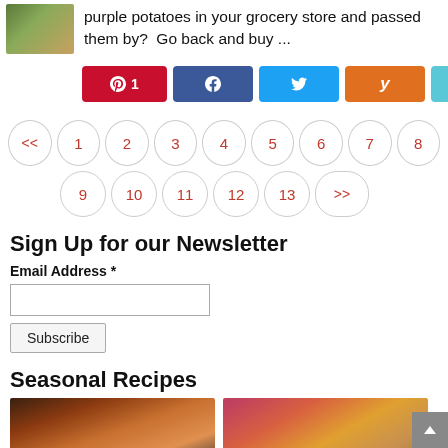purple potatoes in your grocery store and passed them by?  Go back and buy ...
[Figure (infographic): Social share buttons: Pinterest (1), Facebook, Twitter, Yummly, Email]
[Figure (infographic): Pagination navigation: << 1 2 3 4 5 6 7 8 / 9 10 11 12 13 >>]
Sign Up for our Newsletter
Email Address *
Seasonal Recipes
[Figure (photo): Two food photos side by side: a pizza skillet and a bowl of caramel popcorn]